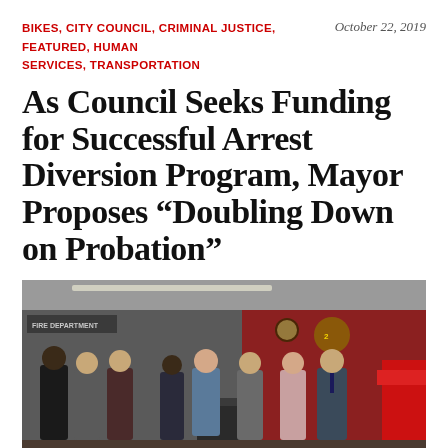BIKES, CITY COUNCIL, CRIMINAL JUSTICE, FEATURED, HUMAN SERVICES, TRANSPORTATION
October 22, 2019
As Council Seeks Funding for Successful Arrest Diversion Program, Mayor Proposes “Doubling Down on Probation”
[Figure (photo): Group of people standing at a podium inside what appears to be a fire station with red walls. A woman speaks at a podium in the center, surrounded by officials and staff.]